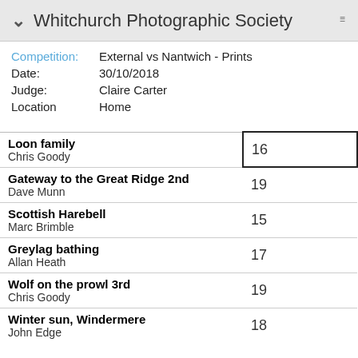Whitchurch Photographic Society
Competition: External vs Nantwich - Prints
Date: 30/10/2018
Judge: Claire Carter
Location: Home
| Entry / Author | Score |
| --- | --- |
| Loon family / Chris Goody | 16 |
| Gateway to the Great Ridge 2nd / Dave Munn | 19 |
| Scottish Harebell / Marc Brimble | 15 |
| Greylag bathing / Allan Heath | 17 |
| Wolf on the prowl 3rd / Chris Goody | 19 |
| Winter sun, Windermere / John Edge | 18 |